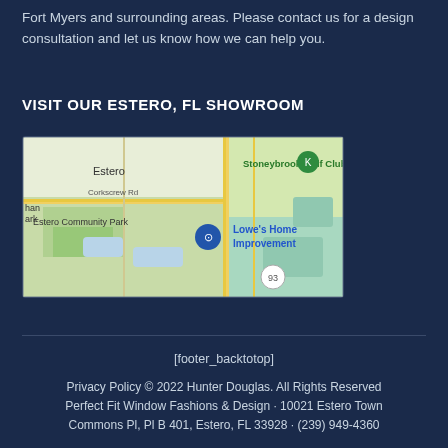Fort Myers and surrounding areas. Please contact us for a design consultation and let us know how we can help you.
VISIT OUR ESTERO, FL SHOWROOM
[Figure (map): Google Maps view showing Estero, FL area with Stoneybrook Golf Club, Lowe's Home Improvement, Estero Community Park, and Corkscrew Rd landmarks visible.]
[footer_backtotop]
Privacy Policy © 2022 Hunter Douglas. All Rights Reserved
Perfect Fit Window Fashions & Design · 10021 Estero Town Commons Pl, Pl B 401, Estero, FL 33928 · (239) 949-4360